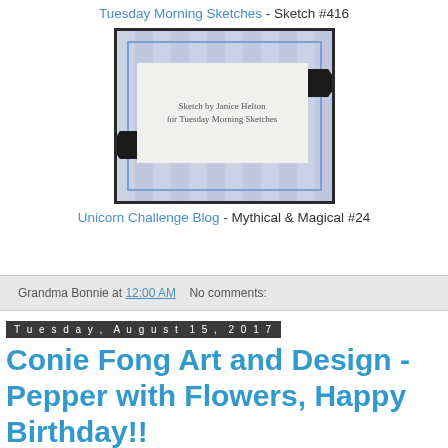Tuesday Morning Sketches - Sketch #416
[Figure (illustration): A card sketch layout with blue striped background, black ribbon banners, and a white card center with script text reading 'Sketch by Janice Helton for Tuesday Morning Sketches']
Unicorn Challenge Blog - Mythical & Magical #24
Grandma Bonnie at 12:00 AM   No comments:
Tuesday, August 15, 2017
Conie Fong Art and Design - Pepper with Flowers, Happy Birthday!!
Welcome to Conie Fong Art and Design, New Rel...